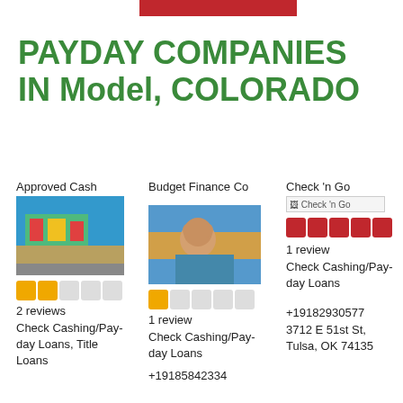[Figure (other): Red banner bar at top center]
PAYDAY COMPANIES IN Model, COLORADO
Approved Cash
[Figure (photo): Photo of Approved Cash storefront with green and red signage]
[Figure (other): 2.5 star rating (yellow stars): 2 filled, 1 half, 2 empty]
2 reviews
Check Cashing/Pay-day Loans, Title Loans
Budget Finance Co
[Figure (photo): Photo of a man in an orange floral shirt outdoors]
[Figure (other): 1 star rating (yellow/gray stars): 1 filled, 4 empty]
1 review
Check Cashing/Pay-day Loans
+19185842334
Check 'n Go
[Figure (other): Check 'n Go logo image placeholder]
[Figure (other): 5 star rating (red stars): 5 filled red]
1 review
Check Cashing/Pay-day Loans
+19182930577
3712 E 51st St, Tulsa, OK 74135